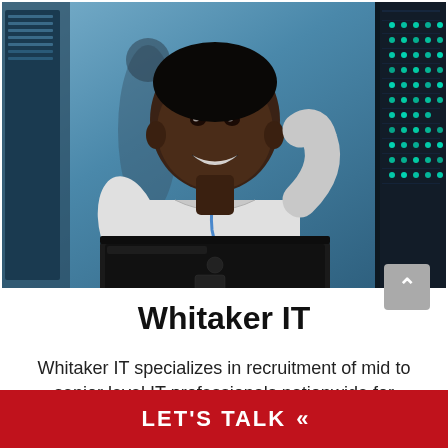[Figure (photo): A smiling Black man in a white polo shirt with a blue lanyard, holding a laptop in what appears to be a server room with lit server racks in the background]
Whitaker IT
Whitaker IT specializes in recruitment of mid to senior level IT professionals nationwide for
LET'S TALK «